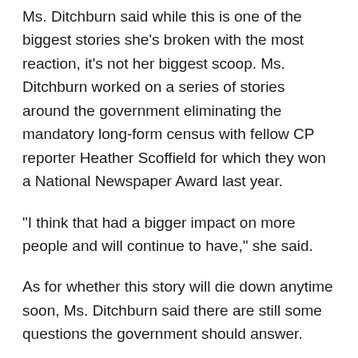Ms. Ditchburn said while this is one of the biggest stories she's broken with the most reaction, it's not her biggest scoop. Ms. Ditchburn worked on a series of stories around the government eliminating the mandatory long-form census with fellow CP reporter Heather Scoffield for which they won a National Newspaper Award last year.
“I think that had a bigger impact on more people and will continue to have,” she said.
As for whether this story will die down anytime soon, Ms. Ditchburn said there are still some questions the government should answer.
“I think there are some sort of lingering questions about